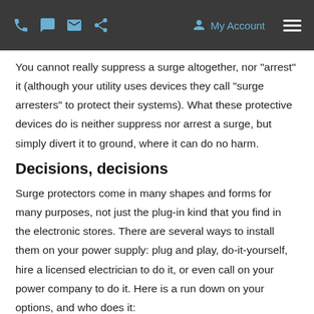My Account
You cannot really suppress a surge altogether, nor "arrest" it (although your utility uses devices they call "surge arresters" to protect their systems). What these protective devices do is neither suppress nor arrest a surge, but simply divert it to ground, where it can do no harm.
Decisions, decisions
Surge protectors come in many shapes and forms for many purposes, not just the plug-in kind that you find in the electronic stores. There are several ways to install them on your power supply: plug and play, do-it-yourself, hire a licensed electrician to do it, or even call on your power company to do it. Here is a run down on your options, and who does it:
Purchase one or more plug-in surge protectors
Install a surge protector at the service entrance